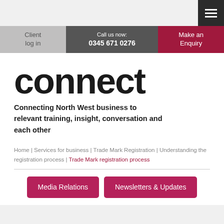Menu button (hamburger icon)
Client log in | Call us now: 0345 671 0276 | Make an Enquiry
connect
Connecting North West business to relevant training, insight, conversation and each other
Home | Services for business | Trade Mark Registration | Understanding the registration process | Trade Mark registration process
Media Relations
Newsletters & Updates